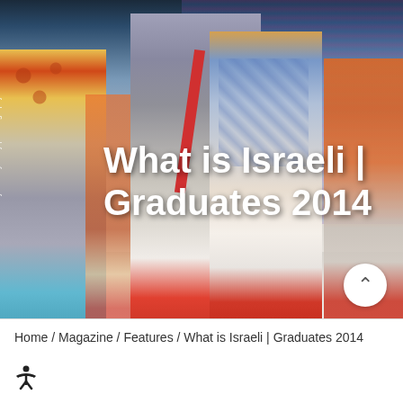[Figure (photo): Fashion runway photo showing models wearing colorful printed garments at what appears to be an Israeli fashion graduate show 2014. Models wearing patterned vests, jackets, and dresses in vibrant colors against an LED screen background.]
What is Israeli | Graduates 2014
Photo: Emmy Nikolayevsky | Photography: Itzik Biran
Home / Magazine / Features / What is Israeli | Graduates 2014